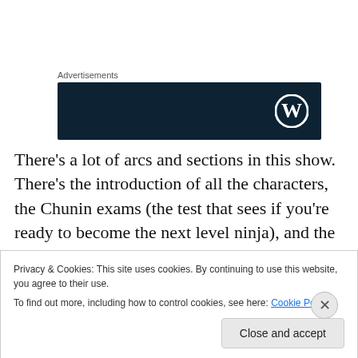Advertisements
[Figure (logo): WordPress advertisement banner — dark navy background with white WordPress 'W' circular logo on the right side]
There's a lot of arcs and sections in this show. There's the introduction of all the characters, the Chunin exams (the test that sees if you're ready to become the next level ninja), and the battles between Orochimaru (Steven Blum) and his henchmen. With each trial for Naruto comes more
Privacy & Cookies: This site uses cookies. By continuing to use this website, you agree to their use.
To find out more, including how to control cookies, see here: Cookie Policy